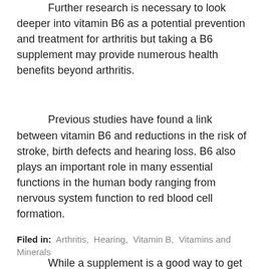Further research is necessary to look deeper into vitamin B6 as a potential prevention and treatment for arthritis but taking a B6 supplement may provide numerous health benefits beyond arthritis.
Previous studies have found a link between vitamin B6 and reductions in the risk of stroke, birth defects and hearing loss. B6 also plays an important role in many essential functions in the human body ranging from nervous system function to red blood cell formation.
While a supplement is a good way to get your B vitamins, they are also present in various foods including broccoli, asparagus, potatoes, tuna and salmon. You can also buy milk and flour products that are fortified with B vitamins.
Filed in: Arthritis, Hearing, Vitamin B, Vitamins and Minerals